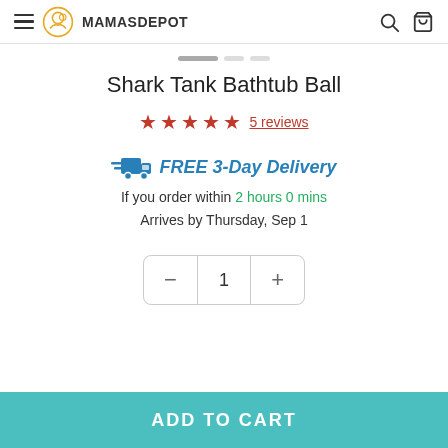MAMASDEPOT
Shark Tank Bathtub Ball
5 reviews
FREE 3-Day Delivery
If you order within 2 hours 0 mins
Arrives by Thursday, Sep 1
− 1 +
ADD TO CART